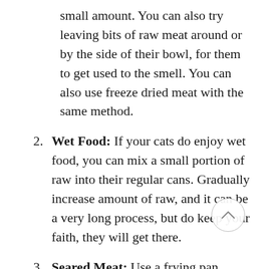small amount. You can also try leaving bits of raw meat around or by the side of their bowl, for them to get used to the smell. You can also use freeze dried meat with the same method.
2. Wet Food: If your cats do enjoy wet food, you can mix a small portion of raw into their regular cans. Gradually increase amount of raw, and it can be a very long process, but do keep your faith, they will get there.
3. Seared Meat: Use a frying pan, lightly sear both sides of small chunks of bone free cuts, and